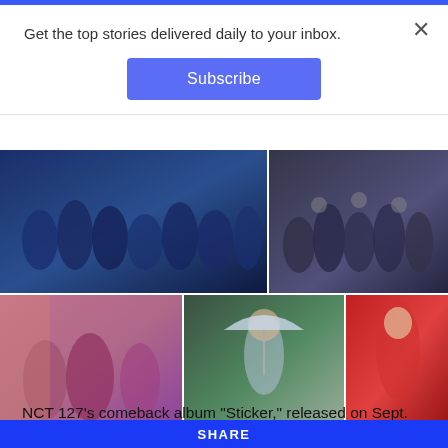Get the top stories delivered daily to your inbox.
Subscribe
[Figure (photo): Collage of K-pop artists: top left NCT 127 group photo, top right ATEEZ group photo, bottom left Mamamoo group photo, bottom middle Wonho solo photo, bottom right BLACKPINK's Lisa solo photo]
(Clockwise from top left) NCT 127, ATEEZ, BLACKPINK's Lisa, Wonho and Mamamoo (Instagram, Twitter)
NCT 127’s comeback album “Sticker,” released on Sept. 17,
SHARE